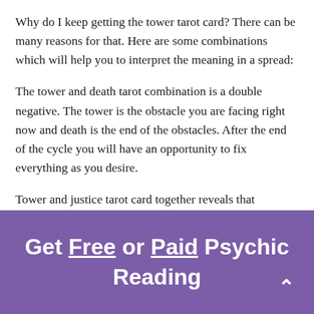Why do I keep getting the tower tarot card? There can be many reasons for that. Here are some combinations which will help you to interpret the meaning in a spread:
The tower and death tarot combination is a double negative. The tower is the obstacle you are facing right now and death is the end of the obstacles. After the end of the cycle you will have an opportunity to fix everything as you desire.
Tower and justice tarot card together reveals that
Get Free or Paid Psychic Reading